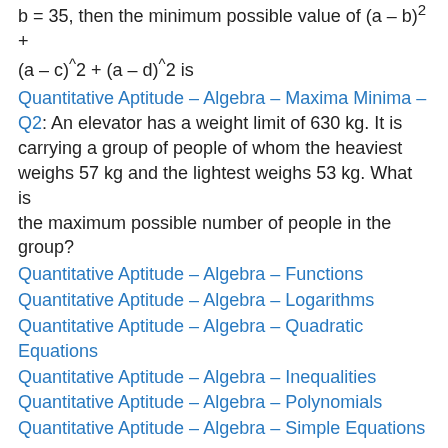b = 35, then the minimum possible value of (a – b)^2 + (a – c)^2 + (a – d)^2 is
Quantitative Aptitude – Algebra – Maxima Minima – Q2: An elevator has a weight limit of 630 kg. It is carrying a group of people of whom the heaviest weighs 57 kg and the lightest weighs 53 kg. What is the maximum possible number of people in the group?
Quantitative Aptitude – Algebra – Functions
Quantitative Aptitude – Algebra – Logarithms
Quantitative Aptitude – Algebra – Quadratic Equations
Quantitative Aptitude – Algebra – Inequalities
Quantitative Aptitude – Algebra – Polynomials
Quantitative Aptitude – Algebra – Simple Equations
Other posts related to Quantitative Aptitude – Algebra